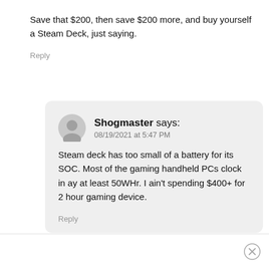Save that $200, then save $200 more, and buy yourself a Steam Deck, just saying.
Reply
Shogmaster says:
08/19/2021 at 5:47 PM
Steam deck has too small of a battery for its SOC. Most of the gaming handheld PCs clock in ay at least 50WHr. I ain't spending $400+ for 2 hour gaming device.
Reply